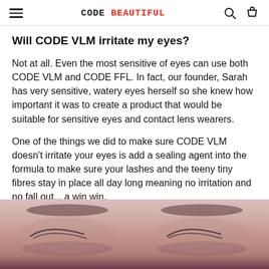CODE BEAUTIFUL
Will CODE VLM irritate my eyes?
Not at all. Even the most sensitive of eyes can use both CODE VLM and CODE FFL. In fact, our founder, Sarah has very sensitive, watery eyes herself so she knew how important it was to create a product that would be suitable for sensitive eyes and contact lens wearers.
One of the things we did to make sure CODE VLM doesn't irritate your eyes is add a sealing agent into the formula to make sure your lashes and the teeny tiny fibres stay in place all day long meaning no irritation and no fall out... a win win.
[Figure (photo): Close-up photo of a woman's eyes showing eyelashes, with a pinkish-purple toned filter]